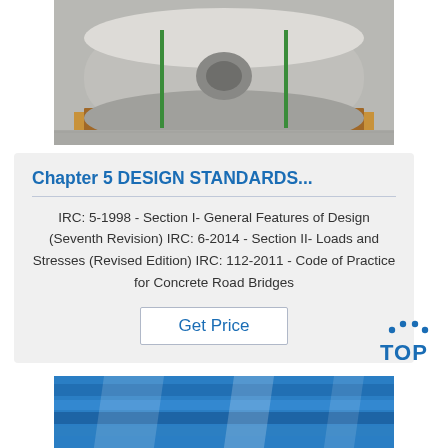[Figure (photo): Large metallic coil/roll on wooden pallet on concrete floor, with green straps]
Chapter 5 DESIGN STANDARDS...
IRC: 5-1998 - Section I- General Features of Design (Seventh Revision) IRC: 6-2014 - Section II- Loads and Stresses (Revised Edition) IRC: 112-2011 - Code of Practice for Concrete Road Bridges
[Figure (logo): TOP logo with blue dotted arc above letters TOP in blue]
[Figure (photo): Blue metallic sheets or coils with light reflections]